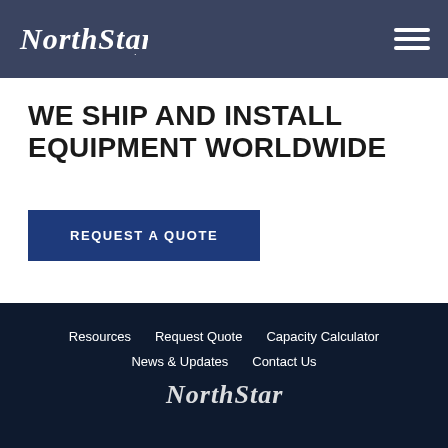NorthStar — navigation header with logo and hamburger menu
WE SHIP AND INSTALL EQUIPMENT WORLDWIDE
REQUEST A QUOTE
Resources  Request Quote  Capacity Calculator  News & Updates  Contact Us